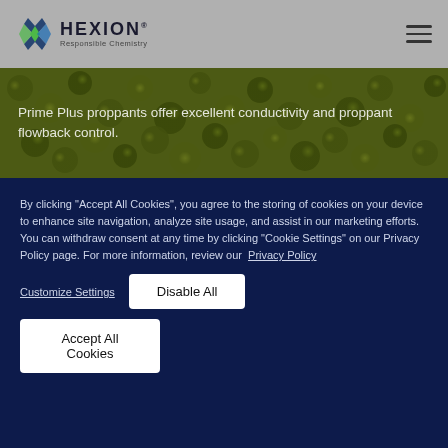[Figure (logo): Hexion logo with stylized X mark in blue and green, text 'HEXION' in dark blue with tagline 'Responsible Chemistry']
[Figure (photo): Close-up photo of green/olive colored proppant beads/pellets]
Prime Plus proppants offer excellent conductivity and proppant flowback control.
By clicking "Accept All Cookies", you agree to the storing of cookies on your device to enhance site navigation, analyze site usage, and assist in our marketing efforts. You can withdraw consent at any time by clicking "Cookie Settings" on our Privacy Policy page. For more information, review our  Privacy Policy
Customize Settings
Disable All
Accept All Cookies